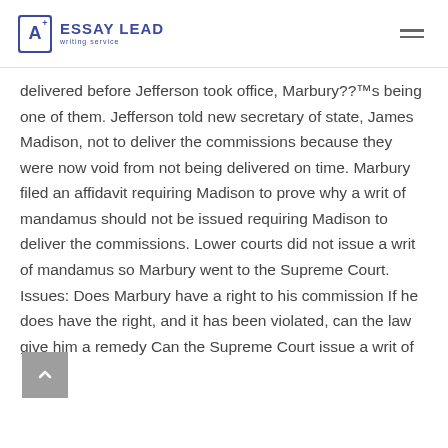ESSAY LEAD writing service
delivered before Jefferson took office, Marbury??™s being one of them. Jefferson told new secretary of state, James Madison, not to deliver the commissions because they were now void from not being delivered on time. Marbury filed an affidavit requiring Madison to prove why a writ of mandamus should not be issued requiring Madison to deliver the commissions. Lower courts did not issue a writ of mandamus so Marbury went to the Supreme Court. Issues: Does Marbury have a right to his commission If he does have the right, and it has been violated, can the law give him a remedy Can the Supreme Court issue a writ of